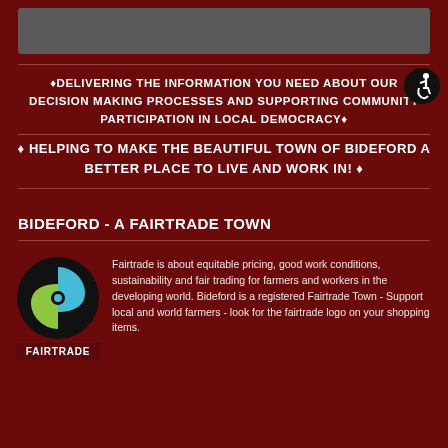[Figure (other): Grey bar/banner at top of page]
[Figure (logo): Wheelchair accessibility icon in black circle, top right]
♦DELIVERING THE INFORMATION YOU NEED ABOUT OUR DECISION MAKING PROCESSES AND SUPPORTING COMMUNITY PARTICIPATION IN LOCAL DEMOCRACY♦
♦ HELPING TO MAKE THE BEAUTIFUL TOWN OF BIDEFORD A BETTER PLACE TO LIVE AND WORK IN! ♦
BIDEFORD - A FAIRTRADE TOWN
[Figure (logo): Fairtrade logo - circular logo with blue and green yin-yang style design on black circle, with FAIRTRADE text below]
Fairtrade is about equitable pricing, good work conditions, sustainability and fair trading for farmers and workers in the developing world. Bideford is a registered Fairtrade Town - Support local and world farmers - look for the fairtrade logo on your shopping items.